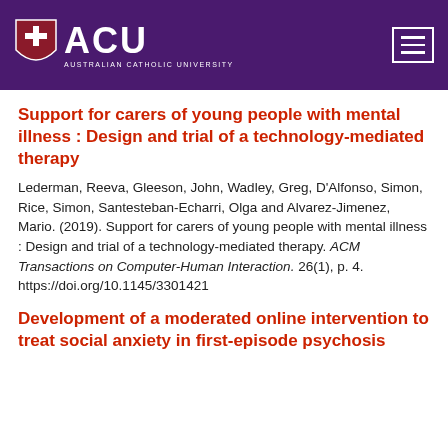ACU Australian Catholic University
Support for carers of young people with mental illness : Design and trial of a technology-mediated therapy
Lederman, Reeva, Gleeson, John, Wadley, Greg, D'Alfonso, Simon, Rice, Simon, Santesteban-Echarri, Olga and Alvarez-Jimenez, Mario. (2019). Support for carers of young people with mental illness : Design and trial of a technology-mediated therapy. ACM Transactions on Computer-Human Interaction. 26(1), p. 4. https://doi.org/10.1145/3301421
Development of a moderated online intervention to treat social anxiety in first-episode psychosis